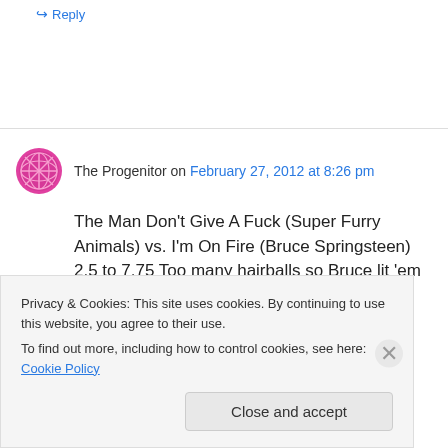↪ Reply
The Progenitor on February 27, 2012 at 8:26 pm
The Man Don't Give A Fuck (Super Furry Animals) vs. I'm On Fire (Bruce Springsteen) 2.5 to 7.75 Too many hairballs so Bruce lit 'em up
Wrong 'Em Boyo (Clash) vs. Street Fighting Man
Privacy & Cookies: This site uses cookies. By continuing to use this website, you agree to their use.
To find out more, including how to control cookies, see here: Cookie Policy
Close and accept